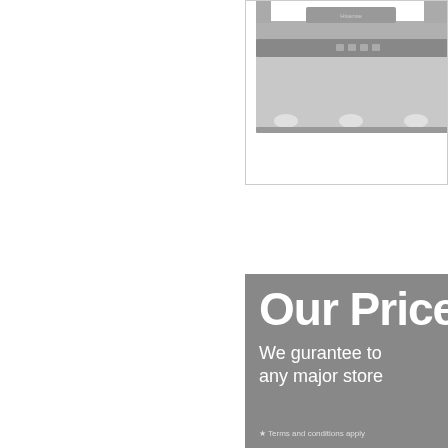[Figure (photo): Kitchen range hood extractor fan, stainless steel, shown partially cropped in upper right area with a white bordered box]
[Figure (infographic): Gray promotional banner with bold white text reading 'Our Price' (cropped) and subtext 'We gurantee to [beat] any major store [price]' with footnote '* Terms and conditions apply']